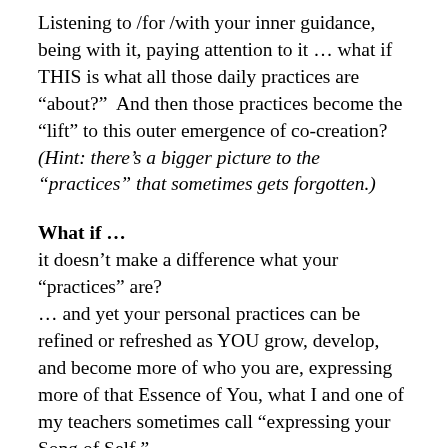Listening to /for /with your inner guidance, being with it, paying attention to it … what if THIS is what all those daily practices are “about?”  And then those practices become the “lift” to this outer emergence of co-creation? (Hint: there’s a bigger picture to the “practices” that sometimes gets forgotten.)
What if …
it doesn’t make a difference what your “practices” are?
… and yet your personal practices can be refined or refreshed as YOU grow, develop, and become more of who you are, expressing more of that Essence of You, what I and one of my teachers sometimes call “expressing your Song of Self.”